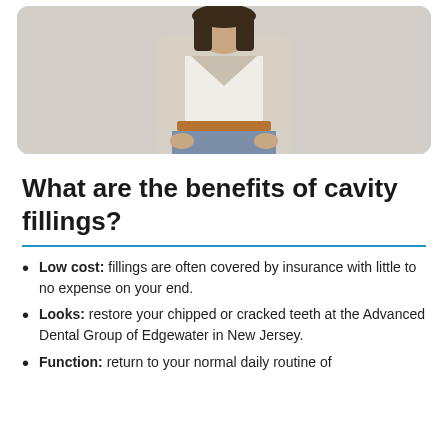[Figure (photo): Woman in beige blazer, white shirt, and jeans standing against a light background]
What are the benefits of cavity fillings?
Low cost: fillings are often covered by insurance with little to no expense on your end.
Looks: restore your chipped or cracked teeth at the Advanced Dental Group of Edgewater in New Jersey.
Function: return to your normal daily routine of